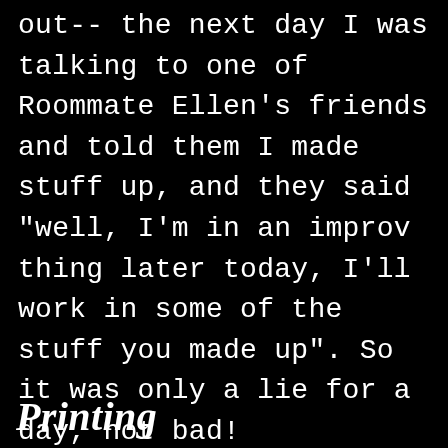out-- the next day I was talking to one of Roommate Ellen's friends and told them I made stuff up, and they said "well, I'm in an improv thing later today, I'll work in some of the stuff you made up". So it was only a lie for a day, not bad!
Printing